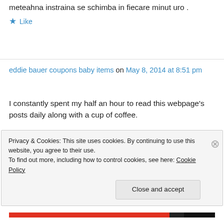meteahna instraina se schimba in fiecare minut uro .
★ Like
eddie bauer coupons baby items on May 8, 2014 at 8:51 pm
I constantly spent my half an hour to read this webpage's posts daily along with a cup of coffee.
★ Like
Privacy & Cookies: This site uses cookies. By continuing to use this website, you agree to their use.
To find out more, including how to control cookies, see here: Cookie Policy
Close and accept